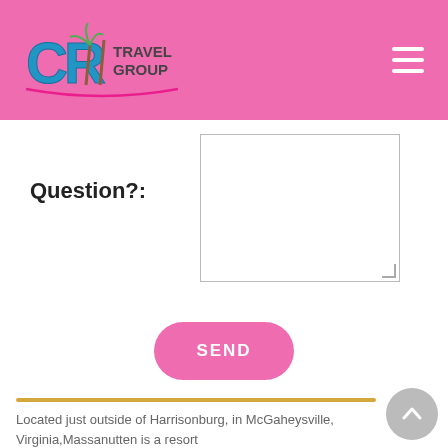[Figure (logo): CR Travel Group logo with palm trees on pink header background]
Question?:
[Figure (screenshot): Empty textarea input field with resize handle]
SEND
Located just outside of Harrisonburg, in McGaheysville, Virginia,Massanutten is a resort